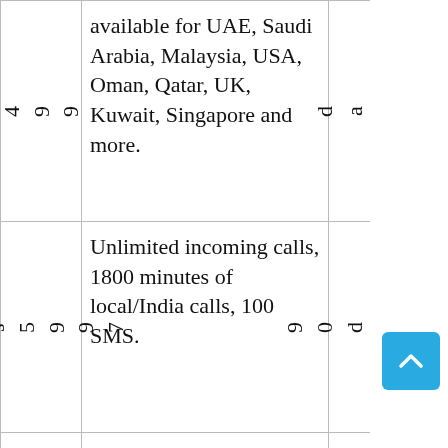| Price | Description | Validity |
| --- | --- | --- |
| 4
9
9 | available for UAE, Saudi Arabia, Malaysia, USA, Oman, Qatar, UK, Kuwait, Singapore and more. | d
a
y
s |
| R
s
5
9
9
7 | Unlimited incoming calls, 1800 minutes of local/India calls, 100 SMS. | 9
0
d
a
y
s |
| R
s | Unlimited incoming calls, | 9
0
d |